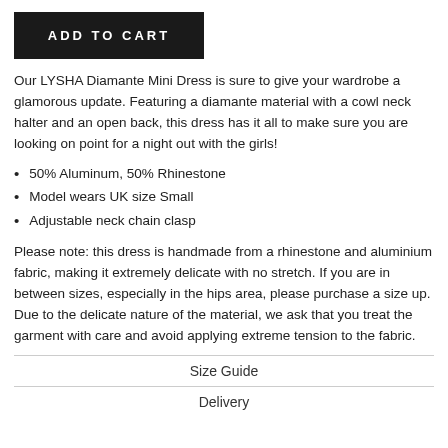ADD TO CART
Our LYSHA Diamante Mini Dress is sure to give your wardrobe a glamorous update. Featuring a diamante material with a cowl neck halter and an open back, this dress has it all to make sure you are looking on point for a night out with the girls!
50% Aluminum, 50% Rhinestone
Model wears UK size Small
Adjustable neck chain clasp
Please note: this dress is handmade from a rhinestone and aluminium fabric, making it extremely delicate with no stretch. If you are in between sizes, especially in the hips area, please purchase a size up. Due to the delicate nature of the material, we ask that you treat the garment with care and avoid applying extreme tension to the fabric.
Size Guide
Delivery